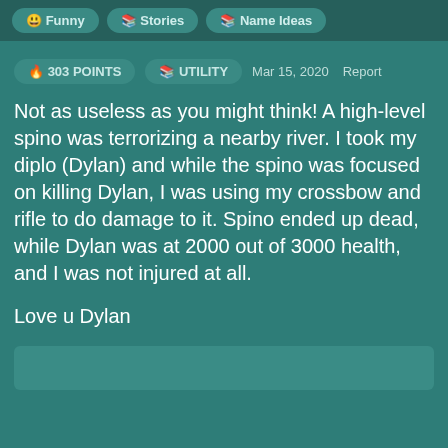Funny | Stories | Name Ideas
303 POINTS   UTILITY   Mar 15, 2020   Report
Not as useless as you might think! A high-level spino was terrorizing a nearby river. I took my diplo (Dylan) and while the spino was focused on killing Dylan, I was using my crossbow and rifle to do damage to it. Spino ended up dead, while Dylan was at 2000 out of 3000 health, and I was not injured at all.
Love u Dylan